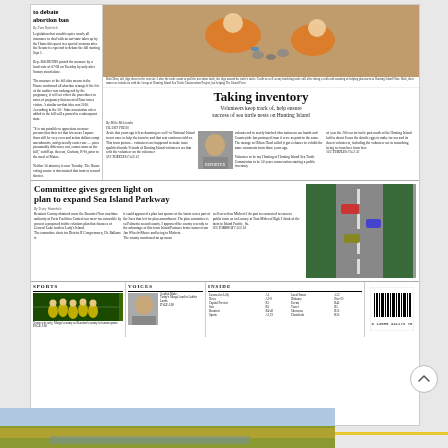to debate abortion ban
By Pam Rederich. Legislation that would require nearly all insurance to deal with an out-state takes up by the Home this quest in a special sessions after the Senate is expected to debate the bill starting Sept 1.
[Figure (photo): Woman in orange jumpsuit crouching over sea turtle nests on beach, placing markers]
Beth Dion, tall, digs down in the nest site 3 after the turtle count to pull the invention forth, she digs around the turtle's turtle. Credit: as well as any hatchling turtle still alive doing a walk and counting or helping placement at Hunting Island Note: Beth, their names as volunteers with the Group of Hunting Island Sea Turtle Conservation Project, but helping The Island Press
Taking inventory
Volunteers keep track of, help ensure success of sea turtle nests on Hunting Island
By Mike McCumbo, ISLAND PRESS. A role that years ago felt as daunting as well- to National Island to not once to help the favorite and that seat continues told so. This form picture...
[Figure (photo): Headshot of Mike McCumbo reporter]
volunteers are happened to make more qualified inside Friends of Hunting Island volunteers are that with the volunteer on the volunteer
volunteered to nearly hatched idea nation on our hands and Countryside has portrayed from it crew as parts to the same. The strange to Hilton Head called it got a chance to exhibit the same comments from those years ago.
Volunteer to be my Hunting of Hunting Island Sea Turtle Commission to be 50 years conservation starting a public inventory
of year the 200 sea for turtle past north of the Hunting Island laid to about 8 area the details eggs to make for sea and its dozen volunteers, including the volunteer are to something being to from here to from here from here SEE TURTLES PAGE 43
Committee gives green light on plan to expand Sea Island Parkway
By Tracy Waterhole. Beaufort County obtained more the Beaufort Now maritime authority at Ports Facilities Control our men- tus ostensible by present a proposed traffic relations plan that finances of General Lake forth to Lady's Island. The committee chair for District II Congressmen, Dr. Balkans.
[Figure (photo): Cars driving on Sea Island Parkway road with traffic]
Beaufort County planners are considering widening the Island Parkway all the way up to the causeway leading to the Richard V. Woods Memorial Bridge. File Indus The Island Press
it could approved a plan last quarter of the latent series part of the lines that left for plan amendment. The plan committee is so Palmetto so and county. I approved the county recently to the advantage of this from Island Partners better names from Jan Wheels-Moore and being to Midvest. The county mentioned an up mean
well served on Midvest I do part to connected to success public from us on Lunacy at Tom Midvest High. I think of the facts to Island Pacific. So. SEE PARKWAY PAGE 44
SPORTS
[Figure (photo): Sports team photo - players in yellow/green uniforms on field at night]
Teams win early, Marga's county as Beaufort's county in human sports. PAGE A10
VOICES
[Figure (photo): Headshot photo of person for Voices column]
Gordon Blake: Today's Marga Land in Ladder Lands. PAGE A10
INSIDE
| Section | Page |
| --- | --- |
| Loxosceles Lilly | A1 |
| News | A2-9 |
| Capital Preview | A3 |
| Info | A3 |
| Beaufort | B1 |
| Sports | A5,C1 |
[Figure (photo): Barcode/masthead element]
[Figure (photo): Marsh landscape photo at bottom of page]